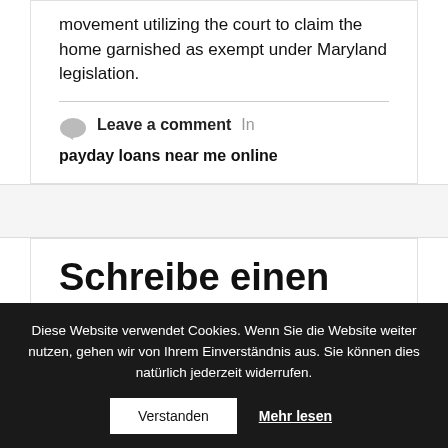movement utilizing the court to claim the home garnished as exempt under Maryland legislation.
Leave a comment  In  payday loans near me online
Schreibe einen
Diese Website verwendet Cookies. Wenn Sie die Website weiter nutzen, gehen wir von Ihrem Einverständnis aus. Sie können dies natürlich jederzeit widerrufen.
Verstanden
Mehr lesen